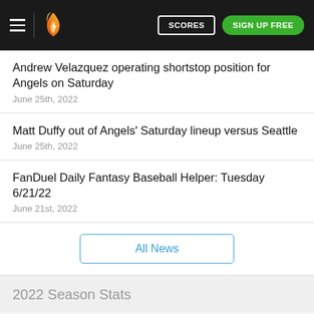SCORES | SIGN UP FREE
Andrew Velazquez operating shortstop position for Angels on Saturday
June 25th, 2022
Matt Duffy out of Angels' Saturday lineup versus Seattle
June 25th, 2022
FanDuel Daily Fantasy Baseball Helper: Tuesday 6/21/22
June 21st, 2022
All News
2022 Season Stats
0   0.261   0.291